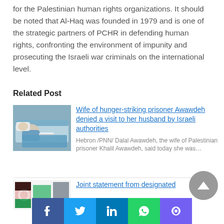for the Palestinian human rights organizations. It should be noted that Al-Haq was founded in 1979 and is one of the strategic partners of PCHR in defending human rights, confronting the environment of impunity and prosecuting the Israeli war criminals on the international level.
Related Post
[Figure (photo): Photo of a person lying in a hospital bed covered with blue sheets]
Wife of hunger-striking prisoner Awawdeh denied a visit to her husband by Israeli authorities
Hebron /PNN/ Dalal Awawdeh, the wife of Palestinian prisoner Khalil Awawdeh, said today she was…
[Figure (logo): Logo image for the second related post about joint statement]
Joint statement from designated